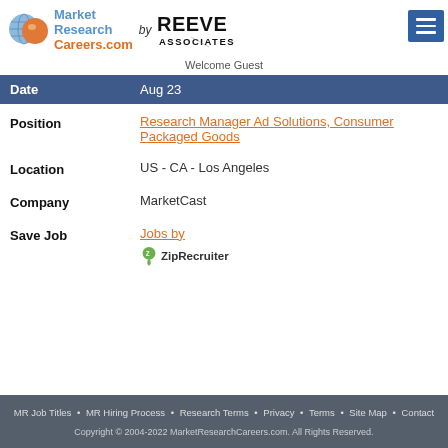[Figure (logo): Market Research Careers.com logo with orange sphere and blue globe icon, 'by Reeve Associates' text and logo]
Welcome Guest
| Field | Value |
| --- | --- |
| Date | Aug 23 |
| Position | Research Manager Ad Solutions, Consumer Packaged Goods |
| Location | US - CA - Los Angeles |
| Company | MarketCast |
| Save Job | Jobs by ZipRecruiter |
MR Job Titles • MR Hiring Process • Research Terms • Privacy • Terms • Site Map • Contact
Copyright © 2004-2022 MarketResearchCareers.com. All Rights Reserved.